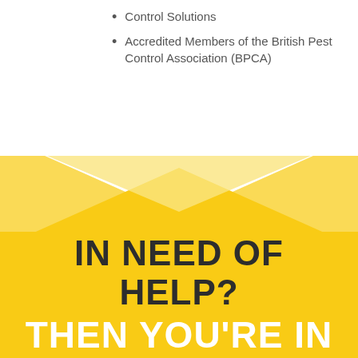Control Solutions
Accredited Members of the British Pest Control Association (BPCA)
[Figure (illustration): Yellow X/diamond decorative shape divider between white and yellow sections]
IN NEED OF HELP?
THEN YOU'RE IN